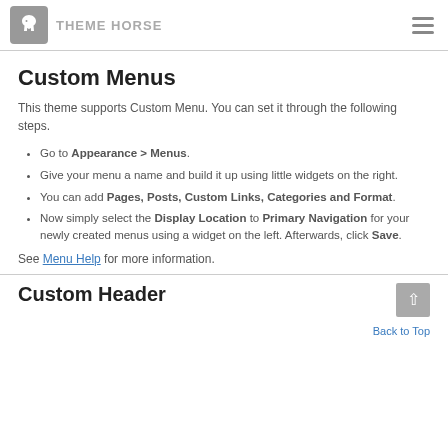THEME HORSE
Custom Menus
This theme supports Custom Menu. You can set it through the following steps.
Go to Appearance > Menus.
Give your menu a name and build it up using little widgets on the right.
You can add Pages, Posts, Custom Links, Categories and Format.
Now simply select the Display Location to Primary Navigation for your newly created menus using a widget on the left. Afterwards, click Save.
See Menu Help for more information.
Custom Header
Back to Top